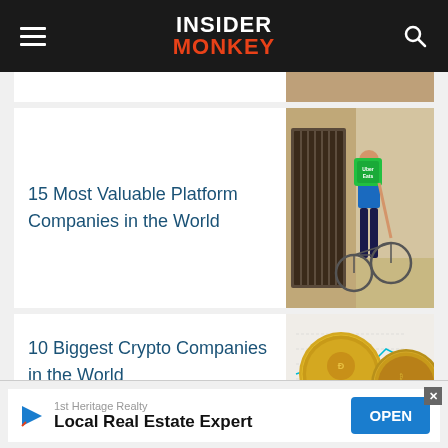INSIDER MONKEY
[Figure (illustration): Partially visible article card image at top]
15 Most Valuable Platform Companies in the World
[Figure (photo): Person with Uber Eats delivery backpack riding a bicycle on a cobblestone street]
10 Biggest Crypto Companies in the World
[Figure (photo): Gold cryptocurrency coins (Dogecoin, Bitcoin) with a line chart in the background]
1st Heritage Realty
Local Real Estate Expert
OPEN